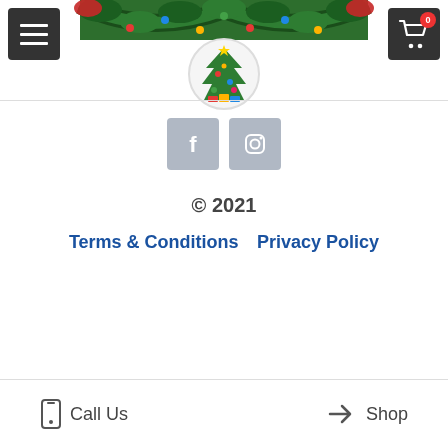[Figure (illustration): Christmas garland decoration at the top of the page with green branches, red bows, and colored ornaments]
[Figure (logo): Christmas tree logo in a circular badge]
[Figure (illustration): Facebook and Instagram social media icon buttons (grey square buttons)]
© 2021
Terms & Conditions    Privacy Policy
Call Us    Shop